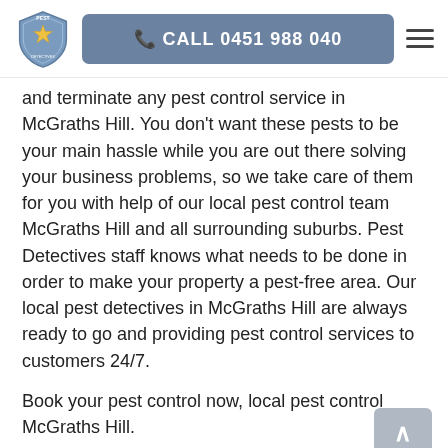CALL 0451 988 040
and terminate any pest control service in McGraths Hill. You don't want these pests to be your main hassle while you are out there solving your business problems, so we take care of them for you with help of our local pest control team McGraths Hill and all surrounding suburbs. Pest Detectives staff knows what needs to be done in order to make your property a pest-free area. Our local pest detectives in McGraths Hill are always ready to go and providing pest control services to customers 24/7.
Book your pest control now, local pest control McGraths Hill.